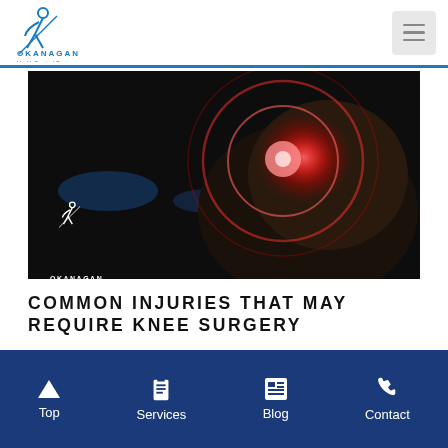Okanagan Health Surgical Centre
[Figure (photo): Dark background image of a knee joint with red glowing highlight/visualization, person's hand touching the knee. Okanagan Health Surgical Centre logo visible in bottom left of image.]
COMMON INJURIES THAT MAY REQUIRE KNEE SURGERY
What Kind Of Injuries Lead To Knee Surgery? Adults commonly complain of knee pain, which can originate from daily...
Top  Services  Blog  Contact